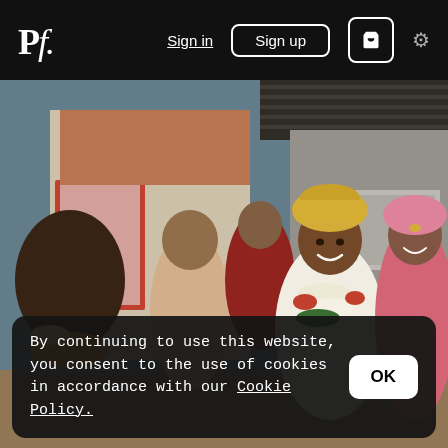Pf. | Sign in | Sign up | [cart] | [settings]
[Figure (photo): An Indian wedding scene outdoors. A groom wearing a yellow/gold turban and flower garlands (jasmine and marigold) smiles broadly. A bride in pink with traditional jewelry is at the right. Several women in traditional sarees are visible in the background near a brick building with a red window frame. A dark corrugated metal roof is visible in the upper right.]
By continuing to use this website, you consent to the use of cookies in accordance with our Cookie Policy.